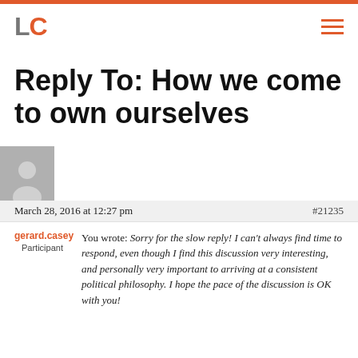LC (logo)
Reply To: How we come to own ourselves
March 28, 2016 at 12:27 pm  #21235
gerard.casey
Participant
You wrote: Sorry for the slow reply! I can't always find time to respond, even though I find this discussion very interesting, and personally very important to arriving at a consistent political philosophy. I hope the pace of the discussion is OK with you!